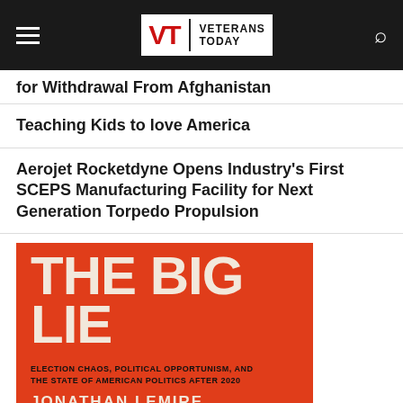Veterans Today
for Withdrawal From Afghanistan
Teaching Kids to love America
Aerojet Rocketdyne Opens Industry's First SCEPS Manufacturing Facility for Next Generation Torpedo Propulsion
[Figure (photo): Book cover: THE BIG LIE — Election Chaos, Political Opportunism, and the State of American Politics After 2020 by Jonathan Lemire. Orange cover with large white bold text.]